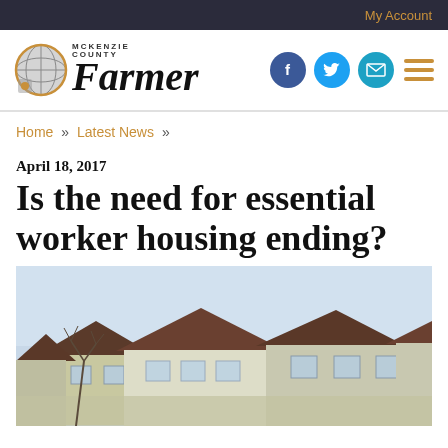My Account
[Figure (logo): McKenzie County Farmer newspaper logo with globe icon on left, stylized italic 'Farmer' text on right, alongside Facebook, Twitter, email social icons and hamburger menu]
Home » Latest News »
April 18, 2017
Is the need for essential worker housing ending?
[Figure (photo): Photograph of suburban townhouse-style housing units with light-colored siding, peaked rooflines, and windows visible under a light blue sky with bare tree branches in foreground]